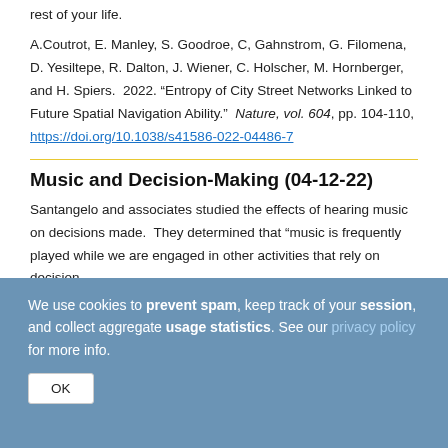rest of your life.
A.Coutrot, E. Manley, S. Goodroe, C, Gahnstrom, G. Filomena, D. Yesiltepe, R. Dalton, J. Wiener, C. Holscher, M. Hornberger, and H. Spiers.  2022. “Entropy of City Street Networks Linked to Future Spatial Navigation Ability.”  Nature, vol. 604, pp. 104-110, https://doi.org/10.1038/s41586-022-04486-7
Music and Decision-Making (04-12-22)
Santangelo and associates studied the effects of hearing music on decisions made.  They determined that “music is frequently played while we are engaged in other activities that rely on decision-
We use cookies to prevent spam, keep track of your session, and collect aggregate usage statistics. See our privacy policy for more info.
OK